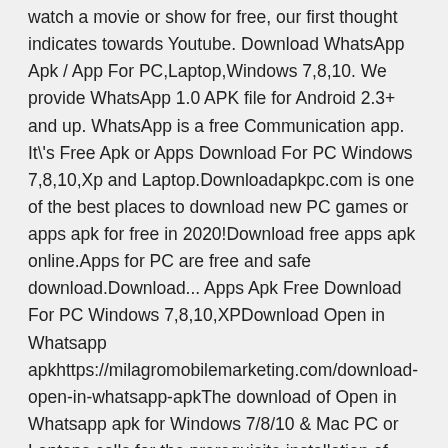watch a movie or show for free, our first thought indicates towards Youtube. Download WhatsApp Apk / App For PC,Laptop,Windows 7,8,10. We provide WhatsApp 1.0 APK file for Android 2.3+ and up. WhatsApp is a free Communication app. It\'s Free Apk or Apps Download For PC Windows 7,8,10,Xp and Laptop.Downloadapkpc.com is one of the best places to download new PC games or apps apk for free in 2020!Download free apps apk online.Apps for PC are free and safe download.Download... Apps Apk Free Download For PC Windows 7,8,10,XPDownload Open in Whatsapp apkhttps://milagromobilemarketing.com/download-open-in-whatsapp-apkThe download of Open in Whatsapp apk for Windows 7/8/10 & Mac PC or Laptops calls for the prerequisite installation of Android emulator software.
21 Jan 2015 Finally: the most well-